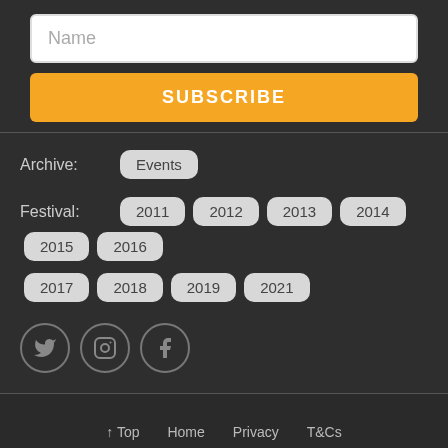Name
SUBSCRIBE
Archive: Events
Festival: 2011 2012 2013 2014 2015 2016 2017 2018 2019 2021
[Figure (other): Social media icons: Twitter, Instagram, Facebook]
↑ Top   Home   Privacy   T&Cs